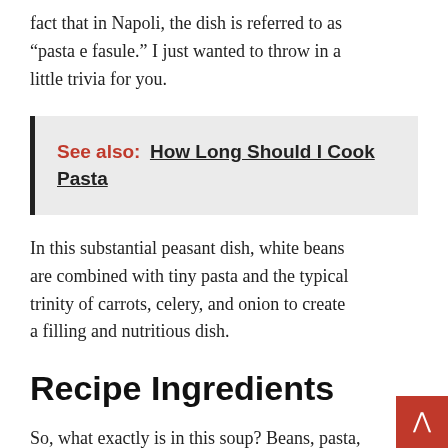fact that in Napoli, the dish is referred to as “pasta e fasule.” I just wanted to throw in a little trivia for you.
See also:  How Long Should I Cook Pasta
In this substantial peasant dish, white beans are combined with tiny pasta and the typical trinity of carrots, celery, and onion to create a filling and nutritious dish.
Recipe Ingredients
So, what exactly is in this soup? Beans, pasta, and vegetables are some of the staples. Extra